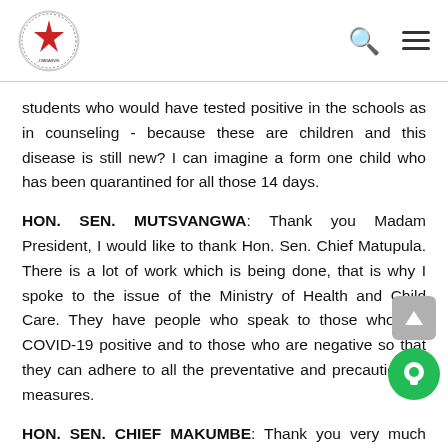Parliament of Zimbabwe logo, search icon, menu icon
students who would have tested positive in the schools as in counseling - because these are children and this disease is still new? I can imagine a form one child who has been quarantined for all those 14 days.
HON. SEN. MUTSVANGWA: Thank you Madam President, I would like to thank Hon. Sen. Chief Matupula. There is a lot of work which is being done, that is why I spoke to the issue of the Ministry of Health and Child Care. They have people who speak to those who are COVID-19 positive and to those who are negative so that they can adhere to all the preventative and precautionary measures.
HON. SEN. CHIEF MAKUMBE: Thank you very much Madam President, we are faced with the festive season.